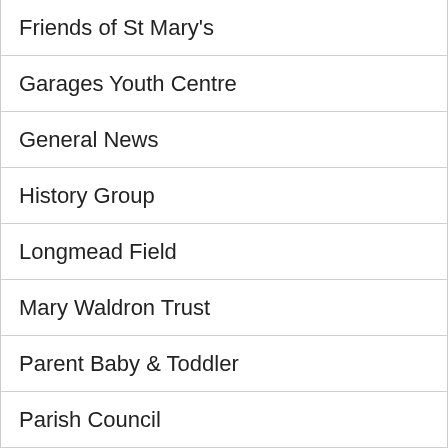Friends of St Mary's
Garages Youth Centre
General News
History Group
Longmead Field
Mary Waldron Trust
Parent Baby & Toddler
Parish Council
Parish Hall